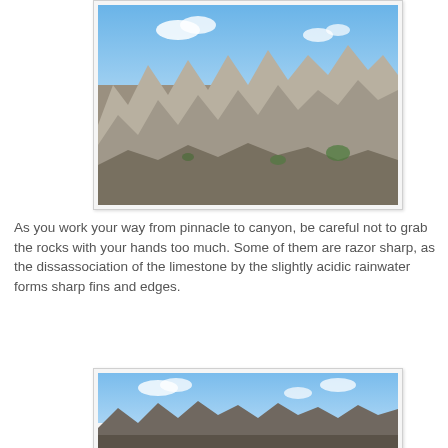[Figure (photo): Landscape photo of jagged limestone rock formations under a blue sky with sparse white clouds. Rocky pinnacles and boulders fill the scene with some green vegetation visible.]
As you work your way from pinnacle to canyon, be careful not to grab the rocks with your hands too much. Some of them are razor sharp, as the dissassociation of the limestone by the slightly acidic rainwater forms sharp fins and edges.
[Figure (photo): Photo of rocky limestone formations with jagged peaks against a blue sky with white clouds, viewed from a lower angle showing the silhouette of the stone formations.]